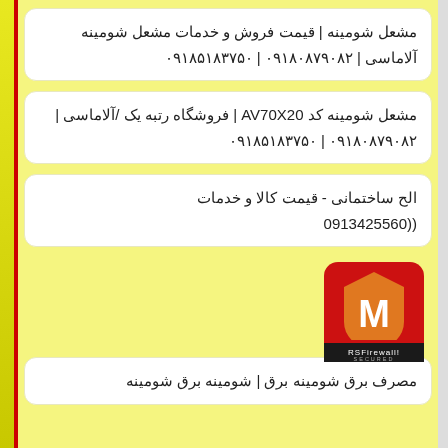مشعل شومینه | قیمت فروش و خدمات مشعل شومینه آلاماسی | ۰۹۱۸۰۸۷۹۰۸۲ | ۰۹۱۸۵۱۸۳۷۵۰
مشعل شومینه کد AV70X20 | فروشگاه رتبه یک /آلاماسی | ۰۹۱۸۰۸۷۹۰۸۲ | ۰۹۱۸۵۱۸۳۷۵۰
الح ساختمانی - قیمت کالا و خدمات ((0913425560
مصرف برق شومینه برق | شومینه برق شومینه